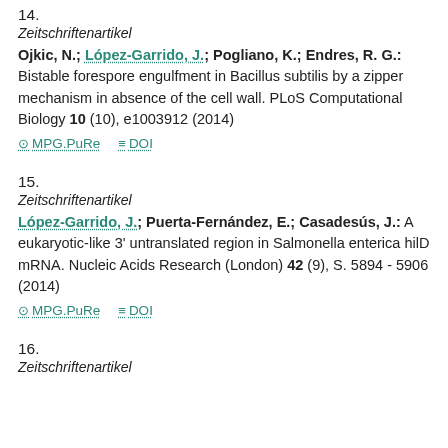14.
Zeitschriftenartikel
Ojkic, N.; López-Garrido, J.; Pogliano, K.; Endres, R. G.: Bistable forespore engulfment in Bacillus subtilis by a zipper mechanism in absence of the cell wall. PLoS Computational Biology 10 (10), e1003912 (2014)
MPG.PuRe   DOI
15.
Zeitschriftenartikel
López-Garrido, J.; Puerta-Fernández, E.; Casadesús, J.: A eukaryotic-like 3' untranslated region in Salmonella enterica hilD mRNA. Nucleic Acids Research (London) 42 (9), S. 5894 - 5906 (2014)
MPG.PuRe   DOI
16.
Zeitschriftenartikel